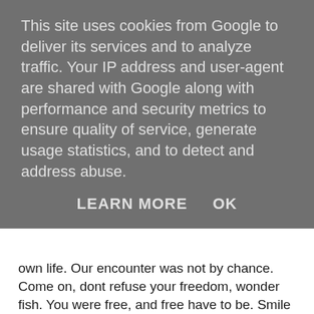This site uses cookies from Google to deliver its services and to analyze traffic. Your IP address and user-agent are shared with Google along with performance and security metrics to ensure quality of service, generate usage statistics, and to detect and address abuse.
LEARN MORE   OK
own life. Our encounter was not by chance. Come on, dont refuse your freedom, wonder fish. You were free, and free have to be. Smile and be happy. You will for sure not be alone anymore. Maybe we will meet again." And saying that opened the net with trembling hands.
The fish was reluctant to swim away, and said: "Oh, dear fisherman. I am really happy to have met you. Not only you set me free, but you taught me something i will never forget." "Dearest among all, unique, Silver-Blue Fish, you were the teacher. I am now a better man. I learned a lot of things from you. I too will never forget you." replied the fisherman. Then the fish swam into the big sea, again free, wawing her tail. She was sad, but felt that she had to go.